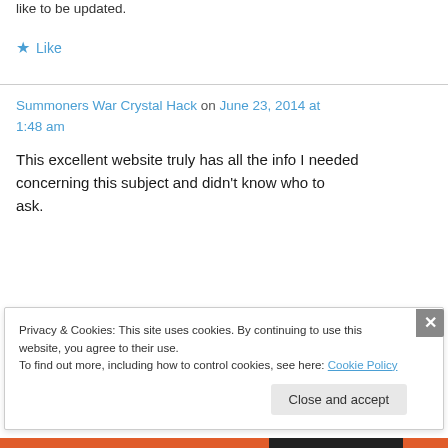like to be updated.
★ Like
Summoners War Crystal Hack on June 23, 2014 at 1:48 am
This excellent website truly has all the info I needed concerning this subject and didn't know who to ask.
Privacy & Cookies: This site uses cookies. By continuing to use this website, you agree to their use. To find out more, including how to control cookies, see here: Cookie Policy
Close and accept